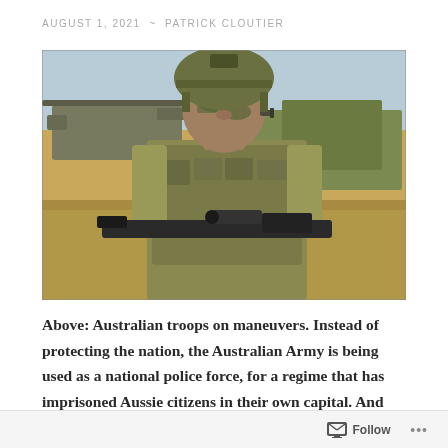AUGUST 1, 2021  ~  PATRICK CLOUTIER
[Figure (photo): Australian soldier in camouflage uniform and helmet holding a rifle, with a military helicopter and other soldiers in the background on an open field.]
Above: Australian troops on maneuvers. Instead of protecting the nation, the Australian Army is being used as a national police force, for a regime that has imprisoned Aussie citizens in their own capital. And since